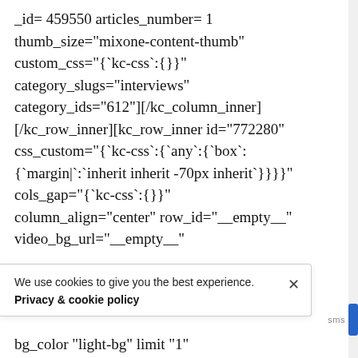_id= 459550 articles_number= 1 thumb_size="mixone-content-thumb" custom_css="{`kc-css`:{}}" category_slugs="interviews" category_ids="612"][/kc_column_inner][/kc_row_inner][kc_row_inner id="772280" css_custom="{`kc-css`:{`any`:{`box`:{`margin|`:`inherit inherit -70px inherit`}}}}" cols_gap="{`kc-css`:{}}" column_align="center" row_id="__empty__" video_bg_url="__empty__"
We use cookies to give you the best experience.
Privacy & cookie policy
bg_color "light-bg" limit "1"